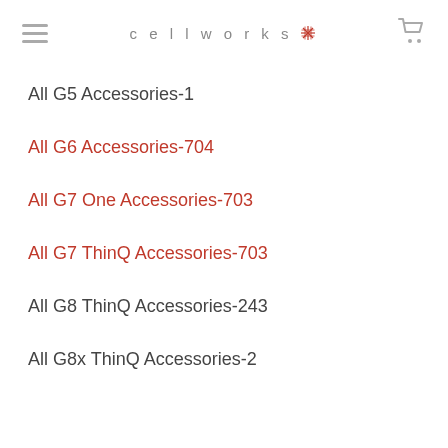cellworks
All G5 Accessories-1
All G6 Accessories-704
All G7 One Accessories-703
All G7 ThinQ Accessories-703
All G8 ThinQ Accessories-243
All G8x ThinQ Accessories-2